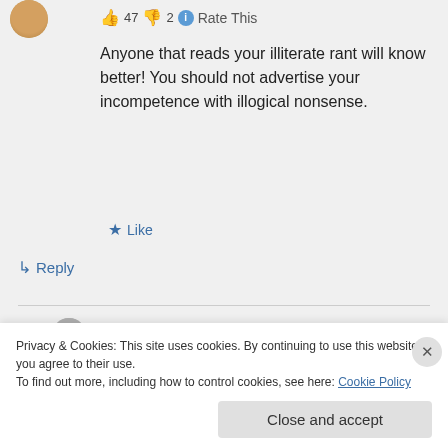👍 47 👎 2 ℹ Rate This
Anyone that reads your illiterate rant will know better! You should not advertise your incompetence with illogical nonsense.
★ Like
↳ Reply
Billy on February 17, 2016 at 6:03 AM
Privacy & Cookies: This site uses cookies. By continuing to use this website, you agree to their use.
To find out more, including how to control cookies, see here: Cookie Policy
Close and accept